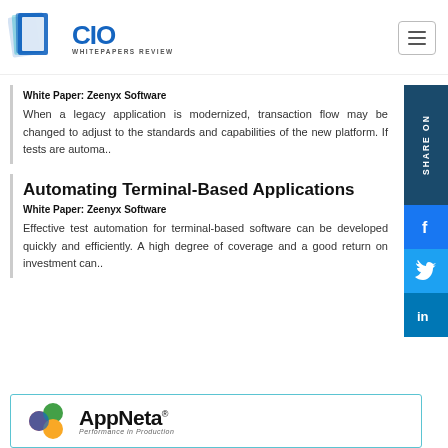CIO Whitepapers Review
White Paper: Zeenyx Software
When a legacy application is modernized, transaction flow may be changed to adjust to the standards and capabilities of the new platform. If tests are automa..
Automating Terminal-Based Applications
White Paper: Zeenyx Software
Effective test automation for terminal-based software can be developed quickly and efficiently. A high degree of coverage and a good return on investment can..
[Figure (logo): AppNeta Performance in Production logo with colorful hexagonal shapes]